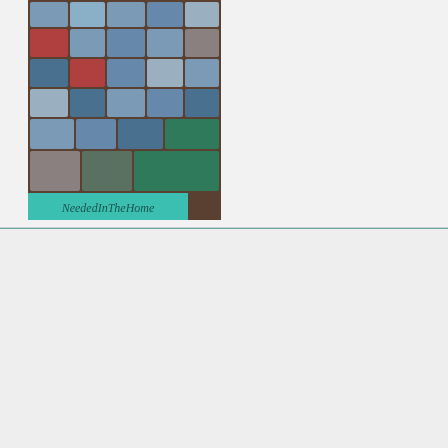[Figure (photo): Photo of many colorful plastic storage bins and totes stacked in a storage unit, with a teal watermark reading 'NeededInTheHome' at the bottom left of the image.]
Join the newsletter
Subscribe to receive our latest articles and promotional content by email from NeededInTheHome